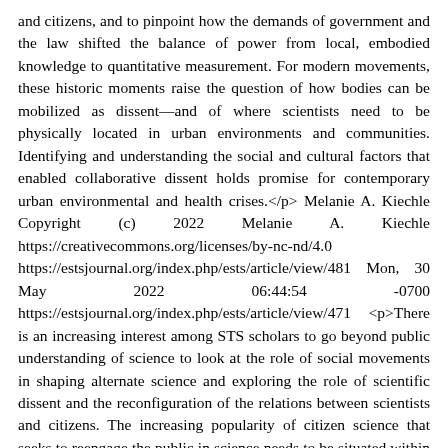and citizens, and to pinpoint how the demands of government and the law shifted the balance of power from local, embodied knowledge to quantitative measurement. For modern movements, these historic moments raise the question of how bodies can be mobilized as dissent—and of where scientists need to be physically located in urban environments and communities. Identifying and understanding the social and cultural factors that enabled collaborative dissent holds promise for contemporary urban environmental and health crises.</p> Melanie A. Kiechle Copyright (c) 2022 Melanie A. Kiechle https://creativecommons.org/licenses/by-nc-nd/4.0 https://estsjournal.org/index.php/ests/article/view/481 Mon, 30 May 2022 06:44:54 -0700 https://estsjournal.org/index.php/ests/article/view/471 <p>There is an increasing interest among STS scholars to go beyond public understanding of science to look at the role of social movements in shaping alternate science and exploring the role of scientific dissent and the reconfiguration of the relations between scientists and citizens. The increasing popularity of citizen science that seeks to reengage the public in science needs to be situated within broader social movements that have argued for more conversations on science and democracy. This paper explores the idea of scientific dissent in India within a rich and vibrant tradition of People's Science Movement(s). We suggest that the dominance of the technoscientific elite has been countered in part through